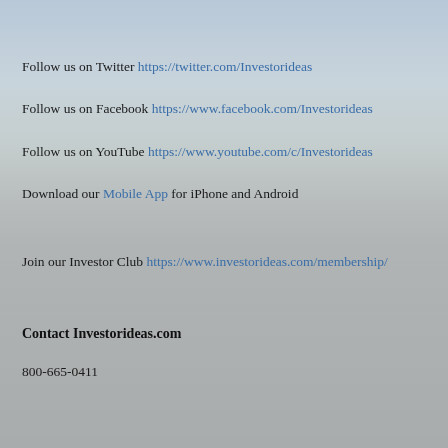Follow us on Twitter https://twitter.com/Investorideas
Follow us on Facebook https://www.facebook.com/Investorideas
Follow us on YouTube https://www.youtube.com/c/Investorideas
Download our Mobile App for iPhone and Android
Join our Investor Club https://www.investorideas.com/membership/
Contact Investorideas.com
800-665-0411